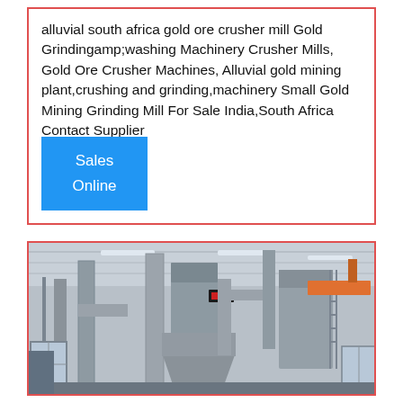alluvial south africa gold ore crusher mill Gold Grindingamp;washing Machinery Crusher Mills, Gold Ore Crusher Machines, Alluvial gold mining plant,crushing and grinding,machinery Small Gold Mining Grinding Mill For Sale India,South Africa Contact Supplier
Sales Online
[Figure (photo): Industrial factory interior showing large dust collection/filtration machinery with cyclone separators, pipes, hoppers, and conveyor systems in a warehouse-style building with metal roof trusses. Orange crane visible in upper right. Grey industrial equipment throughout.]